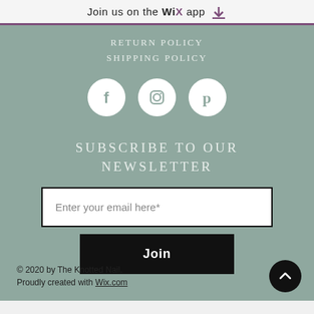Join us on the WiX app
RETURN POLICY
SHIPPING POLICY
[Figure (illustration): Three social media icons in white circles: Facebook, Instagram, Pinterest on a sage green background]
SUBSCRIBE TO OUR NEWSLETTER
Enter your email here*
Join
© 2020 by The Knotted Nail. Proudly created with Wix.com